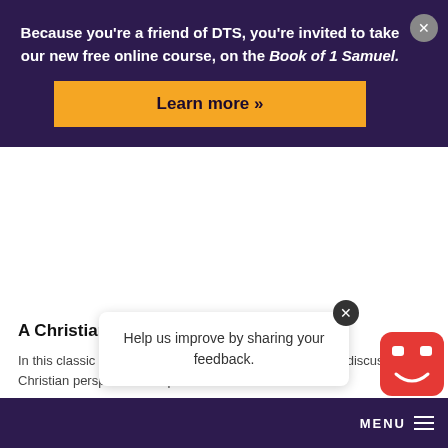Because you're a friend of DTS, you're invited to take our new free online course, on the Book of 1 Samuel.
Learn more »
A Christian View of Sports – Classic
In this classic episode, Dr. Darrell Bock and Ed Uszynski discuss a Christian perspective on sports.
Help us improve by sharing your feedback.
MENU